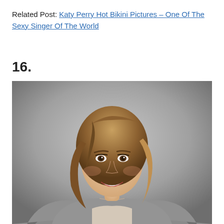Related Post: Katy Perry Hot Bikini Pictures – One Of The Sexy Singer Of The World
16.
[Figure (photo): Professional headshot of a young woman with shoulder-length brown/blonde hair, smiling broadly, wearing a gray blazer over a light top with a delicate necklace, against a gray gradient background.]